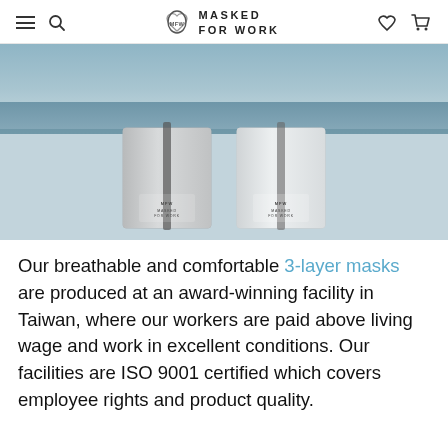MASKED FOR WORK
[Figure (photo): Top portion shows a light blue fabric mask. Below are two mask packaging boxes side by side, both labeled 'Masked For Work', one in a light grey/silver finish and one in a lighter near-white finish, each with an elastic band around the box.]
Our breathable and comfortable 3-layer masks are produced at an award-winning facility in Taiwan, where our workers are paid above living wage and work in excellent conditions. Our facilities are ISO 9001 certified which covers employee rights and product quality.